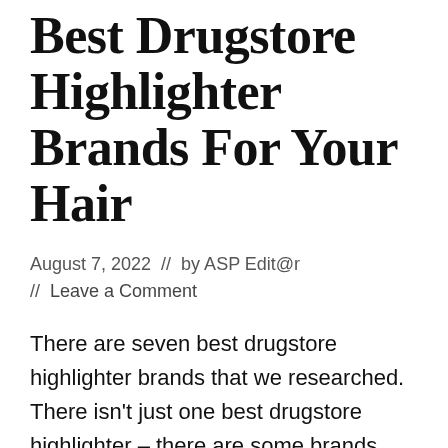Best Drugstore Highlighter Brands For Your Hair
August 7, 2022  //  by ASP Edit@r  //  Leave a Comment
There are seven best drugstore highlighter brands that we researched. There isn't just one best drugstore highlighter – there are some brands that you can always trust. Highlighting your hair at the salon is even more expensive than